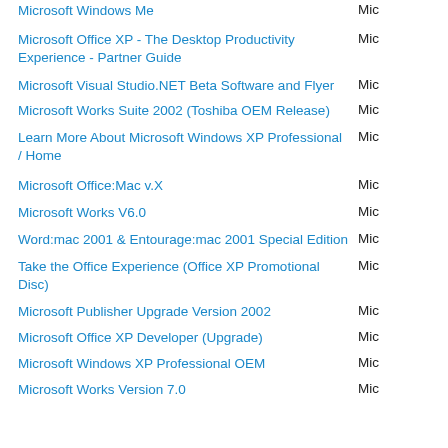Microsoft Windows Me
Microsoft Office XP - The Desktop Productivity Experience - Partner Guide
Microsoft Visual Studio.NET Beta Software and Flyer
Microsoft Works Suite 2002 (Toshiba OEM Release)
Learn More About Microsoft Windows XP Professional / Home
Microsoft Office:Mac v.X
Microsoft Works V6.0
Word:mac 2001 & Entourage:mac 2001 Special Edition
Take the Office Experience (Office XP Promotional Disc)
Microsoft Publisher Upgrade Version 2002
Microsoft Office XP Developer (Upgrade)
Microsoft Windows XP Professional OEM
Microsoft Works Version 7.0